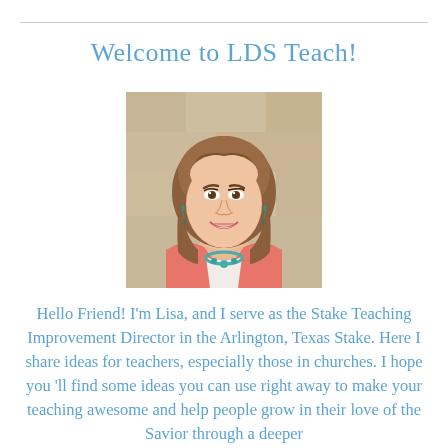Welcome to LDS Teach!
[Figure (photo): Portrait photo of a smiling woman with shoulder-length brown hair, wearing a coral/pink cardigan and teal necklace, with a warm beige background.]
Hello Friend! I'm Lisa, and I serve as the Stake Teaching Improvement Director in the Arlington, Texas Stake. Here I share ideas for teachers, especially those in churches. I hope you 'll find some ideas you can use right away to make your teaching awesome and help people grow in their love of the Savior through a deeper understanding of Him. Thank you so much for visiting!